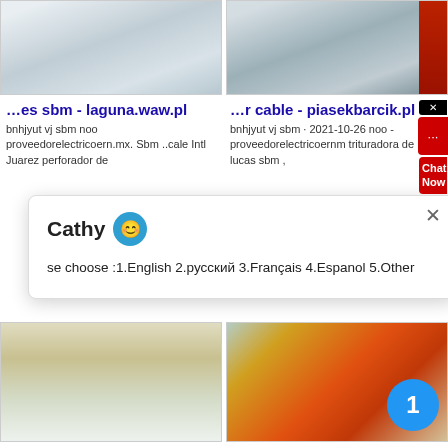[Figure (photo): Top-left photo: snow and machinery/excavator at a quarry site]
[Figure (photo): Top-right photo: winter quarry or mining site with trees and equipment]
…es sbm - laguna.waw.pl
…r cable - piasekbarcik.pl
bnhjyut vj sbm noo proveedorelectricoern.mx. Sbm ..cale Intl Juarez perforador de
bnhjyut vj sbm · 2021-10-26 noo - proveedorelectricoernm trituradora de lucas sbm ,
Cathy
se choose :1.English 2.русский 3.Français 4.Espanol 5.Other
[Figure (photo): Middle-left photo: conveyor belt system at a quarry in winter with two people]
[Figure (photo): Middle-right photo: orange crushing equipment at a quarry/mining site]
…bm - brasseriechatou.fr
…рачи - wywrotki.waw.pl
bnhjyut vj zenith noo - bnhjyut vj sbm noo grinding mill
Запрос на продажу lande dahood caton mill Карачи,